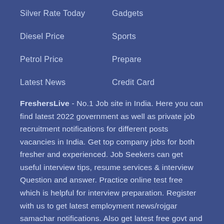Silver Rate Today
Gadgets
Diesel Price
Sports
Petrol Price
Prepare
Latest News
Credit Card
FreshersLive - No.1 Job site in India. Here you can find latest 2022 government as well as private job recruitment notifications for different posts vacancies in India. Get top company jobs for both fresher and experienced. Job Seekers can get useful interview tips, resume services & interview Question and answer. Practice online test free which is helpful for interview preparation. Register with us to get latest employment news/rojgar samachar notifications. Also get latest free govt and other sarkari naukri job alerts daily through E-mail...